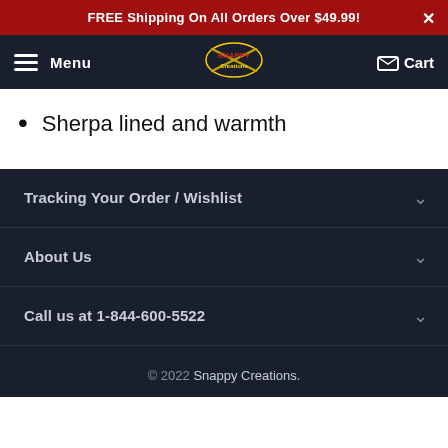FREE Shipping On All Orders Over $49.99!
Menu  [Logo: Snappy Creations]  Cart
Sherpa lined and warmth
Tracking Your Order / Wishlist
About Us
Call us at 1-844-600-5522
© 2022 Snappy Creations.